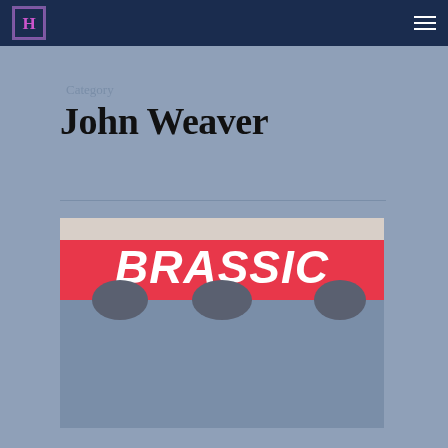JH logo and navigation menu
Category
John Weaver
[Figure (photo): Brassic TV show promotional image with pink/red banner showing the word BRASSIC in white italic bold text, with partial faces of cast members visible below]